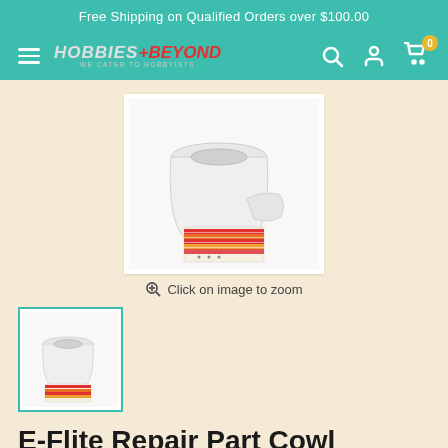Free Shipping on Qualified Orders over $100.00
[Figure (logo): Hobbies+Beyond logo with navigation icons (hamburger menu, search, account, cart with 0 badge)]
[Figure (photo): E-Flite Repair Part Cowl Apprentice S EFL310004 - white cowl piece with red/orange striped decal sheet on cream/white background]
Click on image to zoom
[Figure (photo): Thumbnail of E-Flite Repair Part Cowl Apprentice S product, selected with teal border]
E-Flite Repair Part Cowl Apprentice S EFL310004